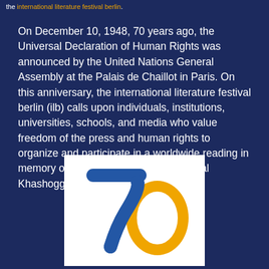the international literature festival berlin.
On December 10, 1948, 70 years ago, the Universal Declaration of Human Rights was announced by the United Nations General Assembly at the Palais de Chaillot in Paris. On this anniversary, the international literature festival berlin (ilb) calls upon individuals, institutions, universities, schools, and media who value freedom of the press and human rights to organize and participate in a worldwide reading in memory of the murdered journalist Jamal Khashoggi.
[Figure (logo): A logo showing the number 70 in overlapping blue and orange/yellow colors on a white background, representing a 70th anniversary.]